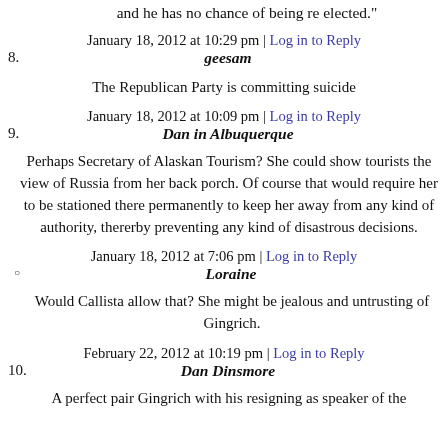and he has no chance of being re elected."
January 18, 2012 at 10:29 pm | Log in to Reply
8. geesam
The Republican Party is committing suicide
January 18, 2012 at 10:09 pm | Log in to Reply
9. Dan in Albuquerque
Perhaps Secretary of Alaskan Tourism? She could show tourists the view of Russia from her back porch. Of course that would require her to be stationed there permanently to keep her away from any kind of authority, thererby preventing any kind of disastrous decisions.
January 18, 2012 at 7:06 pm | Log in to Reply
Loraine
Would Callista allow that? She might be jealous and untrusting of Gingrich.
February 22, 2012 at 10:19 pm | Log in to Reply
10. Dan Dinsmore
A perfect pair Gingrich with his resigning as speaker of the